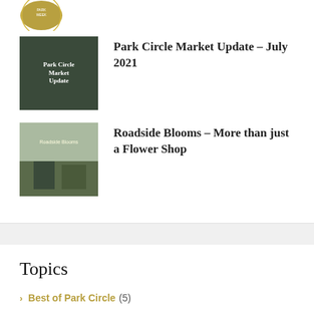[Figure (logo): Circular gold badge/seal logo, partially visible at top]
[Figure (photo): Thumbnail image showing Park Circle Market Update sign]
Park Circle Market Update – July 2021
[Figure (photo): Thumbnail image showing Roadside Blooms flower shop exterior]
Roadside Blooms – More than just a Flower Shop
Topics
Best of Park Circle (5)
Client Testimonials (1)
News & Info (152)